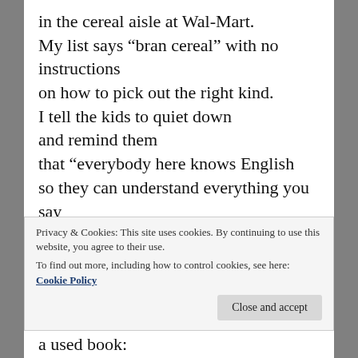in the cereal aisle at Wal-Mart.
My list says “bran cereal” with no instructions
on how to pick out the right kind.
I tell the kids to quiet down
and remind them
that “everybody here knows English
so they can understand everything you say
now.”

A friend turns the corner and sees us: “Hey!
Long time no see.
Didn’t know you were back.
I look at...
Privacy & Cookies: This site uses cookies. By continuing to use this website, you agree to their use.
To find out more, including how to control cookies, see here: Cookie Policy
He’s describing me like you’d describe a used book: